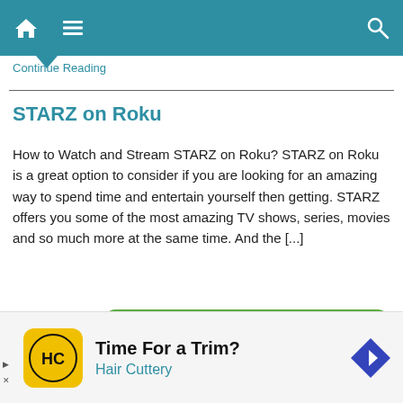Navigation bar with home, menu, and search icons
Continue Reading
STARZ on Roku
How to Watch and Stream STARZ on Roku? STARZ on Roku is a great option to consider if you are looking for an amazing way to spend time and entertain yourself then getting. STARZ offers you some of the most amazing TV shows, series, movies and so much more at the same time. And the [...]
Continue
[Figure (screenshot): Green chat popup with avatar photo, 'Need help?' heading and 'Our staff are ready to help!' text with close button]
[Figure (infographic): Advertisement banner for Hair Cuttery with yellow logo, 'Time For a Trim?' headline and blue navigation arrow icon]